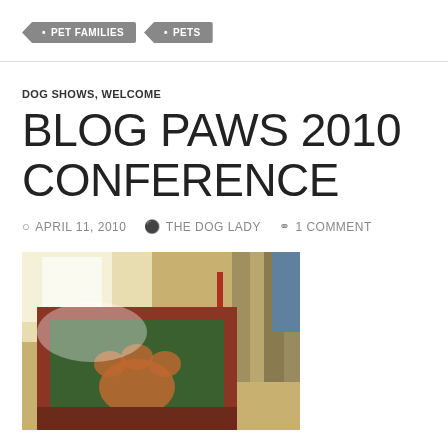PET FAMILIES  PETS
DOG SHOWS, WELCOME
BLOG PAWS 2010 CONFERENCE
APRIL 11, 2010   THE DOG LADY   1 COMMENT
[Figure (photo): A framed item with green and red/brown coloring, partially visible books or items in background with bright light coming through]